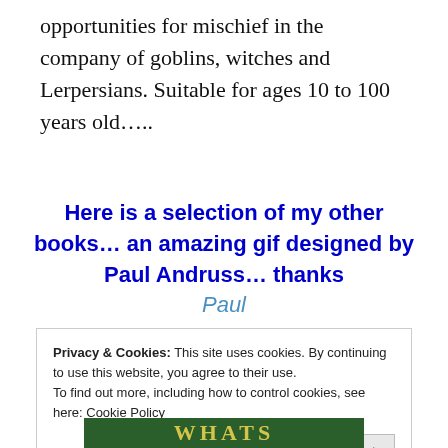opportunities for mischief in the company of goblins, witches and Lerpersians. Suitable for ages 10 to 100 years old…..
Here is a selection of my other books… an amazing gif designed by Paul Andruss… thanks Paul
Privacy & Cookies: This site uses cookies. By continuing to use this website, you agree to their use.
To find out more, including how to control cookies, see here: Cookie Policy
Close and accept
[Figure (photo): Partial image of a book cover with text WHATS on a green background]